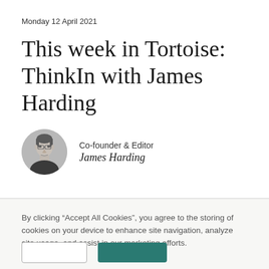Monday 12 April 2021
This week in Tortoise: ThinkIn with James Harding
Co-founder & Editor
James Harding
By clicking “Accept All Cookies”, you agree to the storing of cookies on your device to enhance site navigation, analyze site usage, and assist in our marketing efforts.